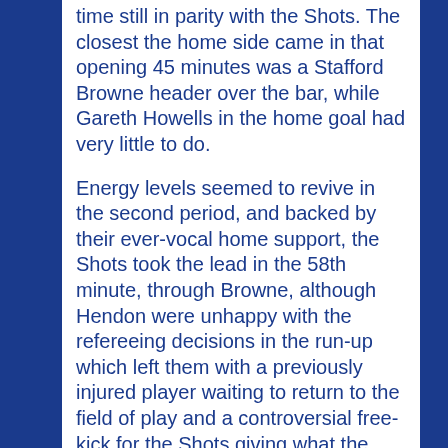time still in parity with the Shots. The closest the home side came in that opening 45 minutes was a Stafford Browne header over the bar, while Gareth Howells in the home goal had very little to do.
Energy levels seemed to revive in the second period, and backed by their ever-vocal home support, the Shots took the lead in the 58th minute, through Browne, although Hendon were unhappy with the refereeing decisions in the run-up which left them with a previously injured player waiting to return to the field of play and a controversial free-kick for the Shots giving what the Greens felt, was an unfair advantage. No matter, Browne hit low into the goal and the home side were ahead.
The Shots continued to be on top for the next quarter of an hour so it was a bit of a mystery as to